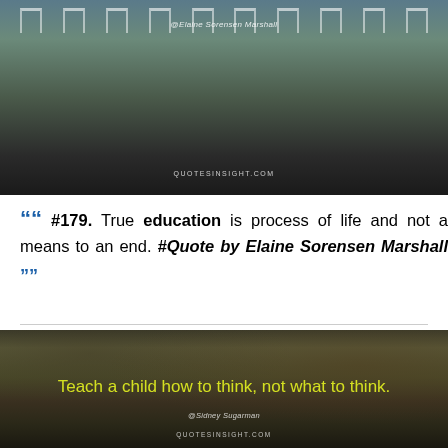[Figure (photo): Outdoor photo of beach chairs near water with dark sandy ground, overlaid with watermark '@Elaine Sorensen Marshall' and site label 'QUOTESINSIGHT.COM']
““ #179. True education is process of life and not a means to an end. #Quote by Elaine Sorensen Marshall ””
[Figure (photo): Outdoor park/lake scene with bare trees, dark atmospheric tones, overlaid with yellow text quote 'Teach a child how to think, not what to think.' and watermark '@Sidney Sugarman' and 'QUOTESINSIGHT.COM']